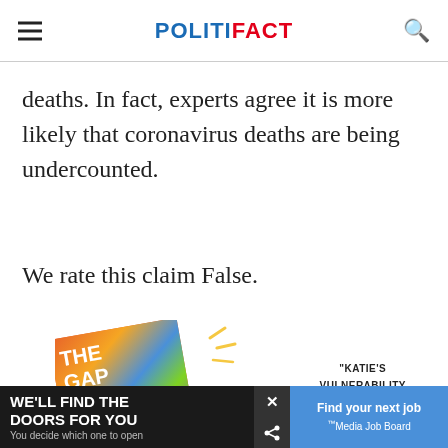POLITIFACT
deaths. In fact, experts agree it is more likely that coronavirus deaths are being undercounted.
We rate this claim False.
[Figure (illustration): Advertisement showing a book titled 'The Gap Decade' with colorful cover, alongside quote text 'KATIE'S VULNERABILITY AND COMEDIC']
[Figure (illustration): Bottom banner advertisements: left side dark background with 'WE'LL FIND THE DOORS FOR YOU - You decide which one to open', right side blue background with 'Find your next job' and 'Media Job Board' branding]